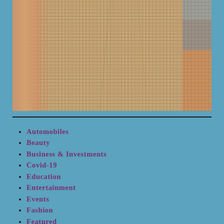[Figure (photo): Close-up photo of a person wearing a beige/tan knitted mesh sleeveless top, showing the torso and arms against a blue background.]
Automobiles
Beauty
Business & Investments
Covid-19
Education
Entertainment
Events
Fashion
Featured
Food & Dining